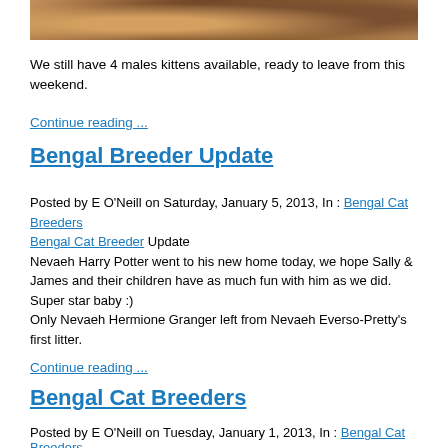[Figure (photo): Partial photo of cats/kittens on a sandy or textured surface, cropped at top of page]
We still have 4 males kittens available, ready to leave from this weekend.
Continue reading ...
Bengal Breeder Update
Posted by E O'Neill on Saturday, January 5, 2013, In : Bengal Cat Breeders Bengal Cat Breeder Update
Nevaeh Harry Potter went to his new home today, we hope Sally & James and their children have as much fun with him as we did. Super star baby :)
Only Nevaeh Hermione Granger left from Nevaeh Everso-Pretty's first litter.
Continue reading ...
Bengal Cat Breeders
Posted by E O'Neill on Tuesday, January 1, 2013, In : Bengal Cat Breeders